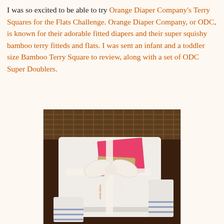I was so excited to be able to try Orange Diaper Company's Terry Squares for the Flats Challenge. Orange Diaper Company, or ODC, is known for their adorable fitted diapers and their super squishy bamboo terry fitteds and flats. I was sent an infant and a toddler size Bamboo Terry Square to review, along with a set of ODC Super Doublers.
[Figure (photo): A stack of white bamboo terry cloth diapers tied with a white ribbon bow, with a pink card and a kraft paper label tag attached, placed on a dark wooden surface with a wicker background.]